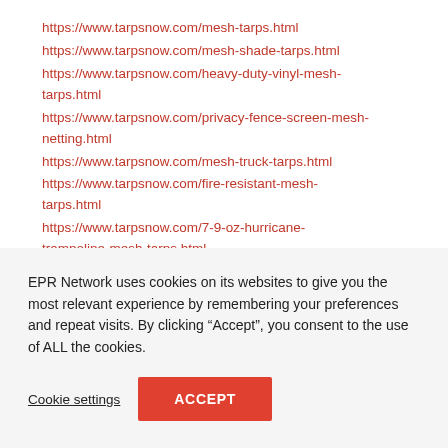https://www.tarpsnow.com/mesh-tarps.html
https://www.tarpsnow.com/mesh-shade-tarps.html
https://www.tarpsnow.com/heavy-duty-vinyl-mesh-tarps.html
https://www.tarpsnow.com/privacy-fence-screen-mesh-netting.html
https://www.tarpsnow.com/mesh-truck-tarps.html
https://www.tarpsnow.com/fire-resistant-mesh-tarps.html
https://www.tarpsnow.com/7-9-oz-hurricane-trampoline-mesh-tarps.html
EPR Network uses cookies on its websites to give you the most relevant experience by remembering your preferences and repeat visits. By clicking “Accept”, you consent to the use of ALL the cookies.
Cookie settings
ACCEPT